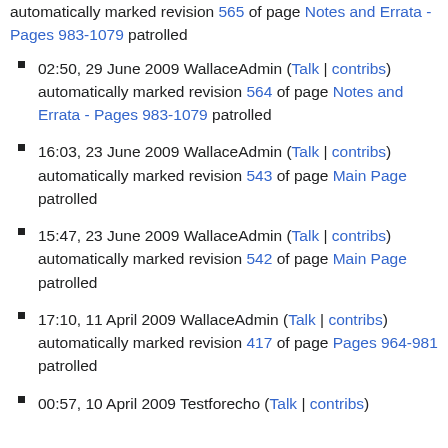automatically marked revision 565 of page Notes and Errata - Pages 983-1079 patrolled
02:50, 29 June 2009 WallaceAdmin (Talk | contribs) automatically marked revision 564 of page Notes and Errata - Pages 983-1079 patrolled
16:03, 23 June 2009 WallaceAdmin (Talk | contribs) automatically marked revision 543 of page Main Page patrolled
15:47, 23 June 2009 WallaceAdmin (Talk | contribs) automatically marked revision 542 of page Main Page patrolled
17:10, 11 April 2009 WallaceAdmin (Talk | contribs) automatically marked revision 417 of page Pages 964-981 patrolled
00:57, 10 April 2009 Testforecho (Talk | contribs)